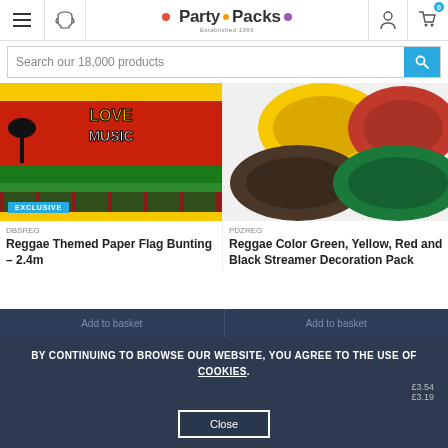PartyPacks — Established 1999
Search our 18,000 products
[Figure (photo): Reggae themed paper flag bunting product image with LOVE MUSIC text and EXCLUSIVE badge]
DBSREG
Reggae Themed Paper Flag Bunting – 2.4m
[Figure (photo): Reggae color green, yellow, red and black streamer decoration pack product image]
PDZREG
Reggae Color Green, Yellow, Red and Black Streamer Decoration Pack
Price ea. [obscured] £3.54
Buy 10+ £3.19
BY CONTINUING TO BROWSE OUR WEBSITE, YOU AGREE TO THE USE OF COOKIES.
Close